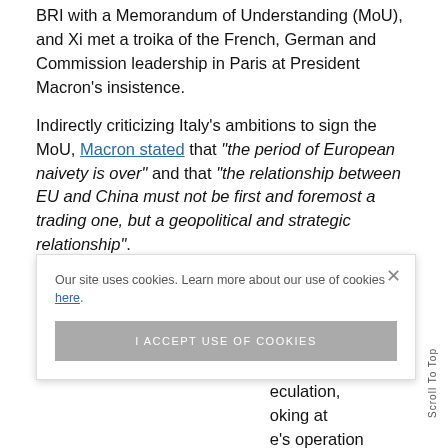BRI with a Memorandum of Understanding (MoU), and Xi met a troika of the French, German and Commission leadership in Paris at President Macron's insistence.
Indirectly criticizing Italy's ambitions to sign the MoU, Macron stated that "the period of European naivety is over" and that "the relationship between EU and China must not be first and foremost a trading one, but a geopolitical and strategic relationship".
Critically assessing the DAR discourse
As an in-depth exploration of the objectives of individual [actors] using DAR [language/framing], [speculation], [looking at] [the organisation's operation] in recent policy documents and speeches. Firstly, the
Our site uses cookies. Learn more about our use of cookies here.
I ACCEPT USE OF COOKIES